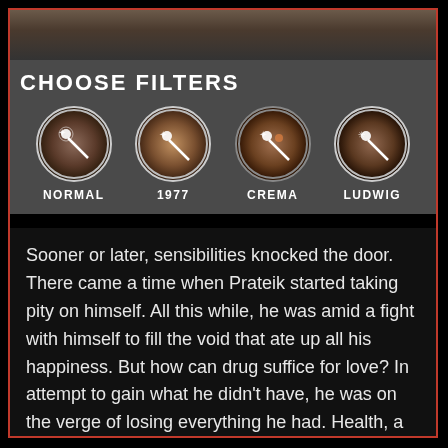[Figure (screenshot): A UI panel labeled CHOOSE FILTERS with four circular filter icons: NORMAL, 1977, CREMA, LUDWIG, each showing a magic wand icon over a blurred photo background]
Sooner or later, sensibilities knocked the door. There came a time when Prateik started taking pity on himself. All this while, he was amid a fight with himself to fill the void that ate up all his happiness. But how can drug suffice for love? In attempt to gain what he didn't have, he was on the verge of losing everything he had. Health, a social life, himself... The 'joyride' got over and he was now tasting hell.